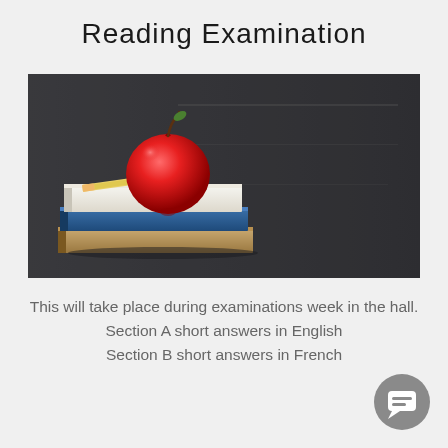Reading Examination
[Figure (photo): A red apple sitting on top of a stack of books with a pencil, placed in front of a dark grey chalkboard background.]
This will take place during examinations week in the hall.
Section A short answers in English
Section B short answers in French